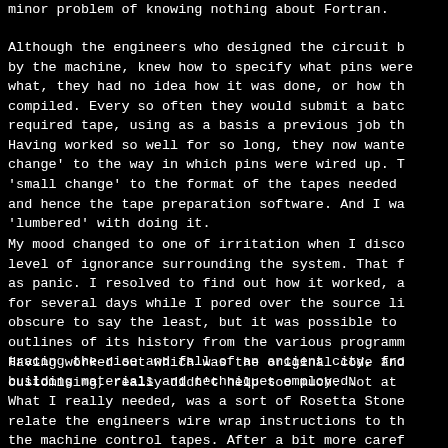minor problem of knowing nothing about Fortran.
Although the engineers who designed the circuit b by the machine, knew how to specify what pins were what, they had no idea how it was done, or how th compiled. Every so often they would submit a batc required tape, using as a basis a previous job th Having worked so well for so long, they now wante change' to the way in which pins were wired up. T 'small change' to the format of the tapes needed and hence the tape preparation software. And I wa 'lumbered' with doing it.
My mood changed to one of irritation when I disco level of ignorance surrounding the system. That f as panic. I resolved to find out how it worked, a for several days while I pored over the source li obscure to say the least, but it was possible to outlines of its history from the various programm tracing the rise and fall of an ancient city, fro building materials and techniques employed.
Having worked out which was the original code and customising, really didn't help too much. Not at What I really needed, was a sort of Rosetta Stone relate the engineers wire wrap instructions to th the machine control tapes. After a bit more caref what I was looking for. A set of translation tabl